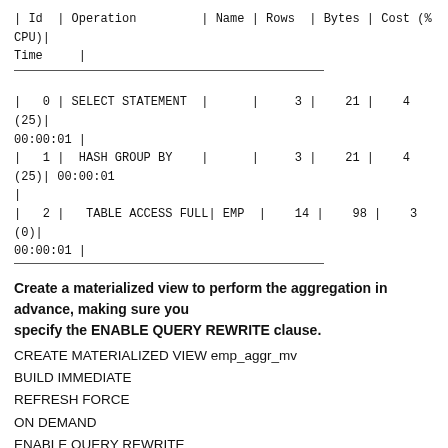| Id | Operation | Name | Rows | Bytes | Cost (%CPU) | Time |
| --- | --- | --- | --- | --- | --- | --- |
| 0 | SELECT STATEMENT |  | 3 | 21 | 4 (25) | 00:00:01 |
| 1 | HASH GROUP BY |  | 3 | 21 | 4 (25) | 00:00:01 |
| 2 | TABLE ACCESS FULL | EMP | 14 | 98 | 3 (0) | 00:00:01 |
Create a materialized view to perform the aggregation in advance, making sure you specify the ENABLE QUERY REWRITE clause.
CREATE MATERIALIZED VIEW emp_aggr_mv
BUILD IMMEDIATE
REFRESH FORCE
ON DEMAND
ENABLE QUERY REWRITE